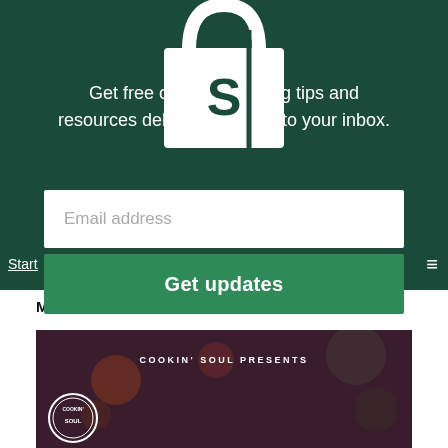[Figure (screenshot): Shopify shopping bag logo in white on dark green background]
Get free online marketing tips and resources delivered directly to your inbox.
Email address
Get updates
Start
MORE STORIES
[Figure (photo): Dark food photography image with spices and cooking ingredients, overlaid with 'COOKIN' SOUL PRESENTS' text and Cookin Soul circular logo badge]